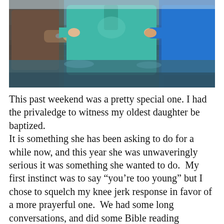[Figure (photo): Three people standing in a body of water during a baptism ceremony. The person in the center is wearing a teal/turquoise hoodie and is being supported by two others on either side — one wearing a brown shirt on the left and one wearing a blue shirt on the right.]
This past weekend was a pretty special one. I had the privaledge to witness my oldest daughter be baptized. It is something she has been asking to do for a while now, and this year she was unwaveringly serious it was something she wanted to do.  My first instinct was to say “you’re too young” but I chose to squelch my knee jerk response in favor of a more prayerful one.  We had some long conversations, and did some Bible reading together.  Our wonderfully gracious pastor sat and casually chatted with her on a few occasions